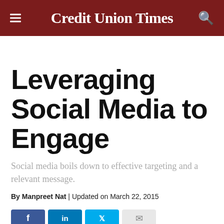Credit Union Times
Leveraging Social Media to Engage
Social media boils down to effective targeting and a relevant message.
By Manpreet Nat | Updated on March 22, 2015